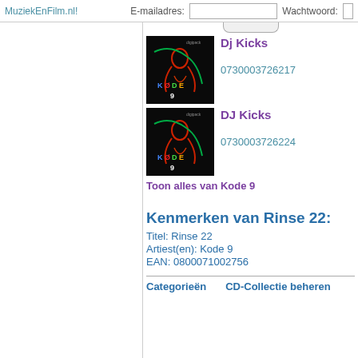MuziekEnFilm.nl!   E-mailadres:   [input]   Wachtwoord: [input]
[Figure (screenshot): Album cover for DJ Kicks / Kode 9 - dark background with neon light figure and KODE 9 text]
Dj Kicks
0730003726217
[Figure (screenshot): Album cover for DJ Kicks / Kode 9 - dark background with neon light figure and KODE 9 text]
DJ Kicks
0730003726224
Toon alles van Kode 9
Kenmerken van Rinse 22:
Titel: Rinse 22
Artiest(en): Kode 9
EAN: 0800071002756
Categorieën   CD-Collectie beheren